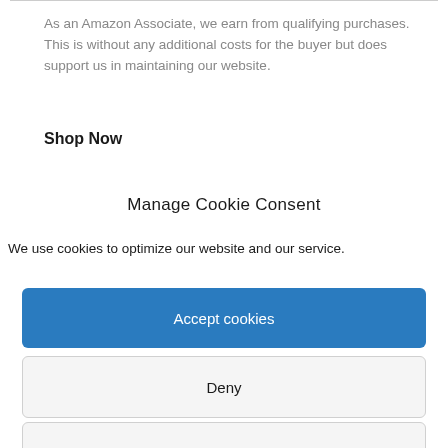As an Amazon Associate, we earn from qualifying purchases. This is without any additional costs for the buyer but does support us in maintaining our website.
Shop Now
Manage Cookie Consent
We use cookies to optimize our website and our service.
Accept cookies
Deny
View preferences